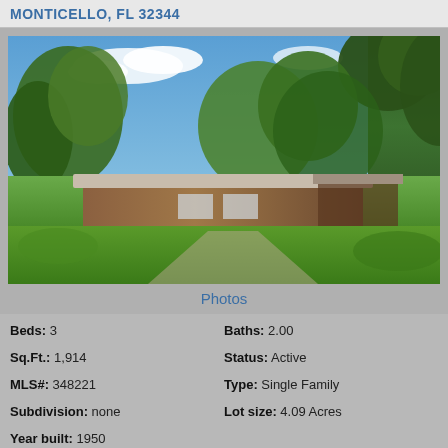MONTICELLO, FL 32344
[Figure (photo): Exterior photo of a single-story brick ranch-style house with a white carport/awning, surrounded by large trees and green lawn in Monticello, FL. Blue sky with clouds visible above tree canopy.]
Photos
Beds: 3
Baths: 2.00
Sq.Ft.: 1,914
Status: Active
MLS#: 348221
Type: Single Family
Subdivision: none
Lot size: 4.09 Acres
Year built: 1950
View Details